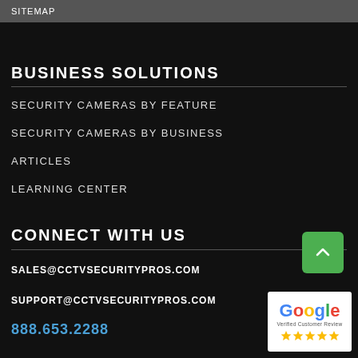SITEMAP
BUSINESS SOLUTIONS
SECURITY CAMERAS BY FEATURE
SECURITY CAMERAS BY BUSINESS
ARTICLES
LEARNING CENTER
CONNECT WITH US
SALES@CCTVSECURITYPROS.COM
SUPPORT@CCTVSECURITYPROS.COM
888.653.2288
[Figure (logo): Google Verified Customer Review badge with 5 gold stars]